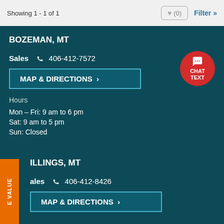Showing 1 - 1 of 1
BOZEMAN, MT
Sales 406-412-7572
MAP & DIRECTIONS
Hours
Mon – Fri: 9 am to 6 pm
Sat: 9 am to 5 pm
Sun: Closed
[Figure (illustration): Red circular CHAT TEXT button]
ILLINGS, MT
ales 406-412-8426
MAP & DIRECTIONS
E VALUE